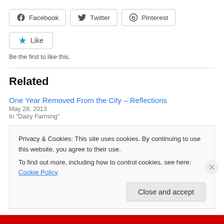[Figure (other): Social share buttons: Facebook, Twitter, Pinterest]
[Figure (other): Like button with star icon]
Be the first to like this.
Related
One Year Removed From the City – Reflections
May 28, 2013
In "Dairy Farming"
Opinions, Please
Privacy & Cookies: This site uses cookies. By continuing to use this website, you agree to their use.
To find out more, including how to control cookies, see here: Cookie Policy